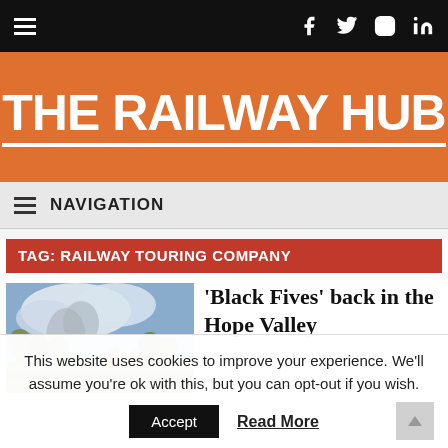THE RAILWAY HUB — top navigation bar with hamburger menu and social icons (Facebook, Twitter, Instagram, LinkedIn)
THE RAILWAY HUB
NAVIGATION
TAG: RAILWAY TOURING COMPANY
[Figure (photo): Outdoor photo of a steam train producing smoke, with trees and sky in background (Hope Valley scene)]
'Black Fives' back in the Hope Valley
This website uses cookies to improve your experience. We'll assume you're ok with this, but you can opt-out if you wish.
Accept  Read More